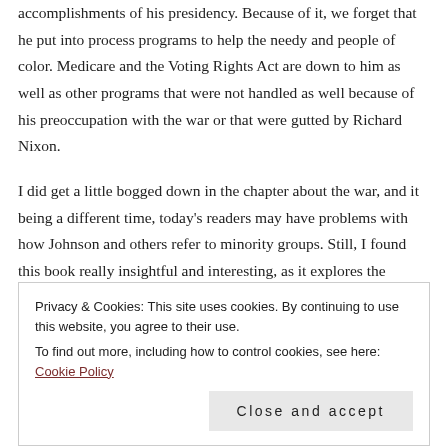accomplishments of his presidency. Because of it, we forget that he put into process programs to help the needy and people of color. Medicare and the Voting Rights Act are down to him as well as other programs that were not handled as well because of his preoccupation with the war or that were gutted by Richard Nixon.
I did get a little bogged down in the chapter about the war, and it being a different time, today's readers may have problems with how Johnson and others refer to minority groups. Still, I found this book really insightful and interesting, as it explores the reasons for some of his
Privacy & Cookies: This site uses cookies. By continuing to use this website, you agree to their use.
To find out more, including how to control cookies, see here: Cookie Policy
Close and accept
The Bully Pulpit: Theodore Roosevelt, William Howard Taft